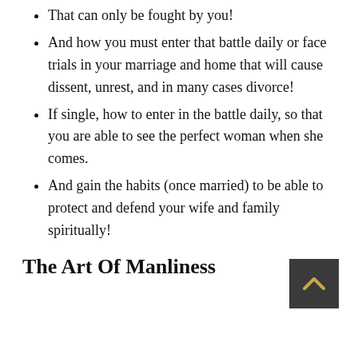That can only be fought by you!
And how you must enter that battle daily or face trials in your marriage and home that will cause dissent, unrest, and in many cases divorce!
If single, how to enter in the battle daily, so that you are able to see the perfect woman when she comes.
And gain the habits (once married) to be able to protect and defend your wife and family spiritually!
The Art Of Manliness